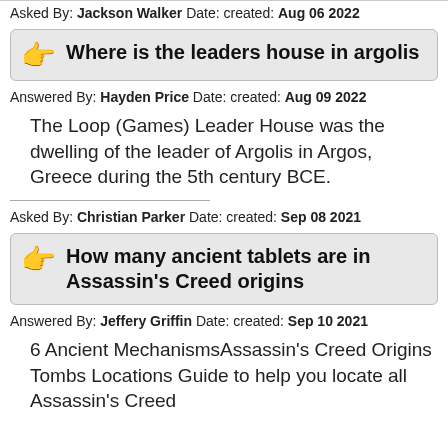Asked By: Jackson Walker Date: created: Aug 06 2022
Where is the leaders house in argolis
Answered By: Hayden Price Date: created: Aug 09 2022
The Loop (Games) Leader House was the dwelling of the leader of Argolis in Argos, Greece during the 5th century BCE.
Asked By: Christian Parker Date: created: Sep 08 2021
How many ancient tablets are in Assassin's Creed origins
Answered By: Jeffery Griffin Date: created: Sep 10 2021
6 Ancient MechanismsAssassin's Creed Origins Tombs Locations Guide to help you locate all Assassin's Creed